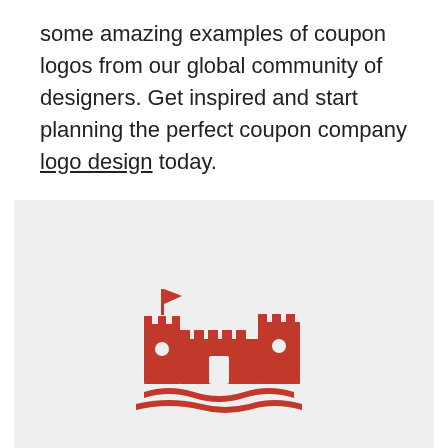some amazing examples of coupon logos from our global community of designers. Get inspired and start planning the perfect coupon company logo design today.
[Figure (logo): A red castle/fortress logo illustration with crenellated walls, towers, a flag, and wavy lines below representing fields or water, rendered in dark red on a light gray background.]